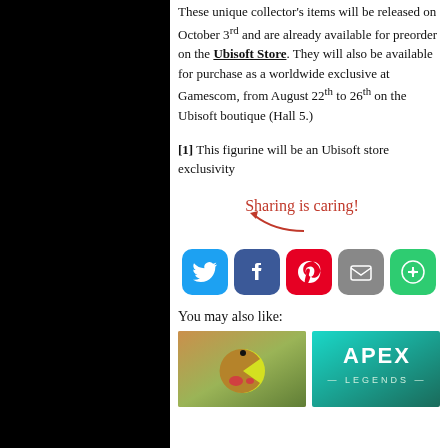These unique collector's items will be released on October 3rd and are already available for preorder on the Ubisoft Store. They will also be available for purchase as a worldwide exclusive at Gamescom, from August 22th to 26th on the Ubisoft boutique (Hall 5.)
[1] This figurine will be an Ubisoft store exclusivity
[Figure (infographic): Sharing is caring! social share buttons: Twitter, Facebook, Pinterest, Email, More]
You may also like:
[Figure (photo): Pac-Man character image]
[Figure (photo): Apex Legends game image]